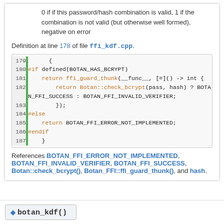0 if if this password/hash combination is valid, 1 if the combination is not valid (but otherwise well formed), negative on error
Definition at line 178 of file ffi_kdf.cpp.
[Figure (screenshot): Code block showing lines 179-187 of ffi_kdf.cpp with syntax highlighting. Contains C++ code with #if defined(BOTAN_HAS_BCRYPT), return ffi_guard_thunk, Botan::check_bcrypt, BOTAN_FFI_SUCCESS, BOTAN_FFI_INVALID_VERIFIER, #else, return BOTAN_FFI_ERROR_NOT_IMPLEMENTED, #endif.]
References BOTAN_FFI_ERROR_NOT_IMPLEMENTED, BOTAN_FFI_INVALID_VERIFIER, BOTAN_FFI_SUCCESS, Botan::check_bcrypt(), Botan_FFI::ffi_guard_thunk(), and hash.
◆ botan_kdf()